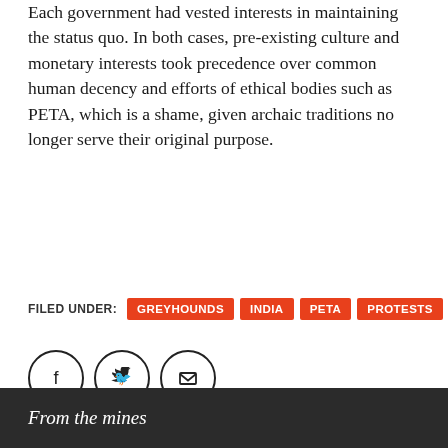Each government had vested interests in maintaining the status quo. In both cases, pre-existing culture and monetary interests took precedence over common human decency and efforts of ethical bodies such as PETA, which is a shame, given archaic traditions no longer serve their original purpose.
FILED UNDER: GREYHOUNDS  INDIA  PETA  PROTESTS
[Figure (other): Social sharing icons: Facebook, Twitter, Email — circular outlined buttons]
From the mines